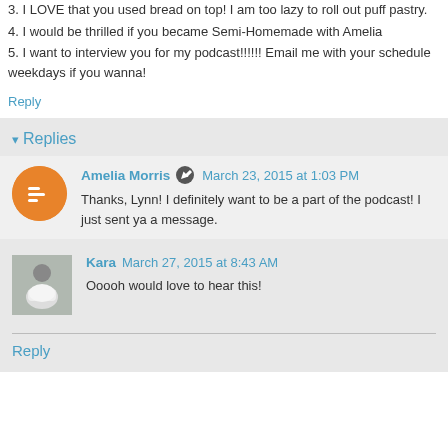3. I LOVE that you used bread on top! I am too lazy to roll out puff pastry.
4. I would be thrilled if you became Semi-Homemade with Amelia
5. I want to interview you for my podcast!!!!!! Email me with your schedule weekdays if you wanna!
Reply
Replies
Amelia Morris  March 23, 2015 at 1:03 PM
Thanks, Lynn! I definitely want to be a part of the podcast! I just sent ya a message.
Kara  March 27, 2015 at 8:43 AM
Ooooh would love to hear this!
Reply